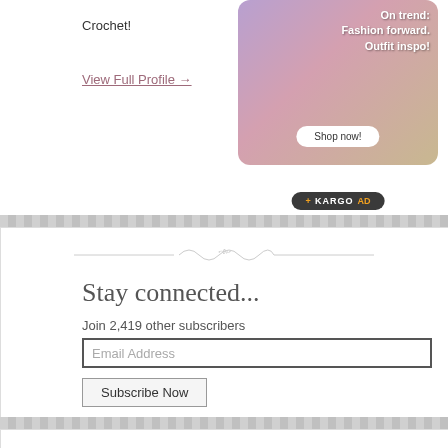Crochet!
View Full Profile →
[Figure (photo): Fashion advertisement image showing a person in pink outfit with text 'On trend. Fashion forward. Outfit inspo!' and a Shop now button, with KARGO AD label below]
Stay connected...
Join 2,419 other subscribers
Email Address
Subscribe Now